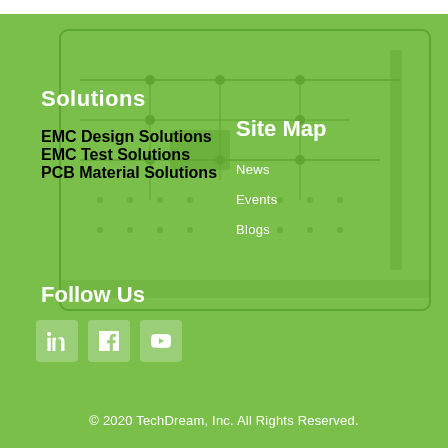Solutions
EMC Design Solutions
EMC Test Solutions
PCB Material Solutions
Site Map
News
Events
Blogs
Follow Us
[Figure (illustration): Social media icons: LinkedIn, Facebook, YouTube]
© 2020 TechDream, Inc. All Rights Reserved.